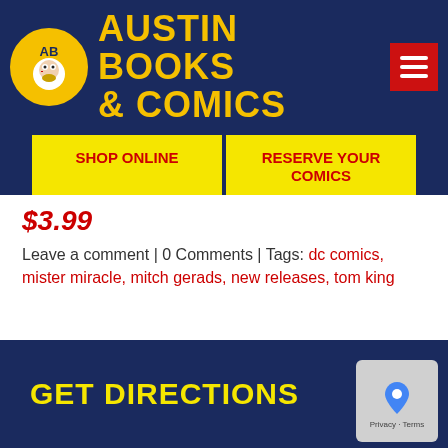Austin Books & Comics
SHOP ONLINE
RESERVE YOUR COMICS
BUY GIFT CARDS
JOIN OUR MAILING LIST
$3.99
Leave a comment | 0 Comments | Tags: dc comics, mister miracle, mitch gerads, new releases, tom king
GET DIRECTIONS